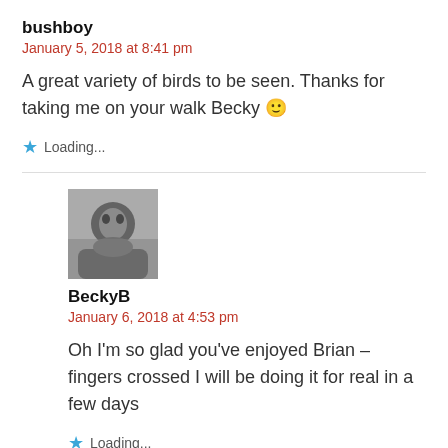bushboy
January 5, 2018 at 8:41 pm
A great variety of birds to be seen. Thanks for taking me on your walk Becky 🙂
Loading...
[Figure (photo): Black and white avatar photo of BeckyB]
BeckyB
January 6, 2018 at 4:53 pm
Oh I'm so glad you've enjoyed Brian – fingers crossed I will be doing it for real in a few days
Loading...